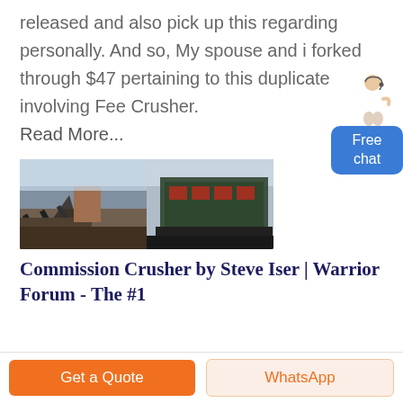released and also pick up this regarding personally. And so, My spouse and i forked through $47 pertaining to this duplicate involving Fee Crusher.
Read More...
[Figure (photo): Two industrial crusher machine images side by side: left shows a conveyor belt crusher setup outdoors, right shows a large green industrial machine]
Commission Crusher by Steve Iser | Warrior Forum - The #1
Get a Quote
WhatsApp